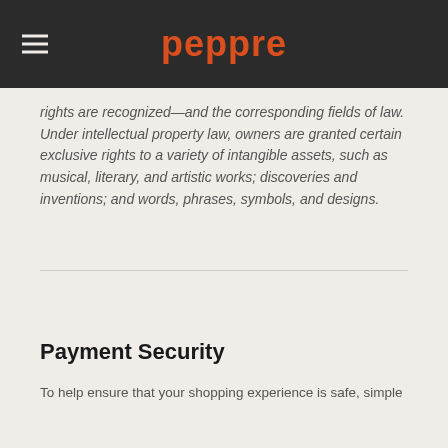peppre
rights are recognized—and the corresponding fields of law. Under intellectual property law, owners are granted certain exclusive rights to a variety of intangible assets, such as musical, literary, and artistic works; discoveries and inventions; and words, phrases, symbols, and designs.
Payment Security
To help ensure that your shopping experience is safe, simple